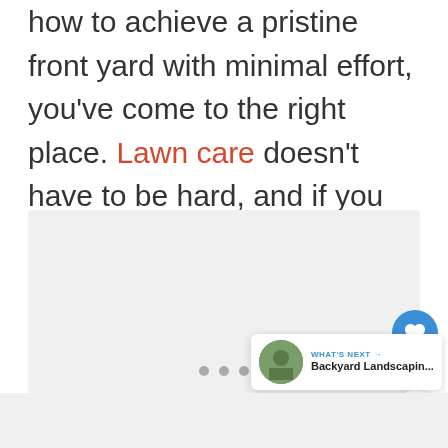how to achieve a pristine front yard with minimal effort, you've come to the right place. Lawn care doesn't have to be hard, and if you know the ins and outs, you'll discover how easy it can be.
[Figure (other): Image carousel placeholder area with navigation dots, like button (22 likes), share button, and a 'What's Next' overlay showing Backyard Landscaping article thumbnail]